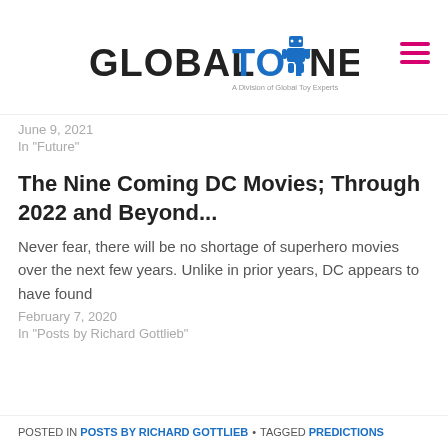Global Toy News — A Division of Global Toy Experts
Industry Finish 2021? Three Questions Whose Answers Will Mean a Lot.
June 9, 2021
In "Future"
Releases: Lots of Announcements. April 1, 2021
In "Movies"
The Nine Coming DC Movies; Through 2022 and Beyond...
Never fear, there will be no shortage of superhero movies over the next few years. Unlike in prior years, DC appears to have found
February 7, 2020
In "Posts by Richard Gottlieb"
POSTED IN POSTS BY RICHARD GOTTLIEB • TAGGED PREDICTIONS